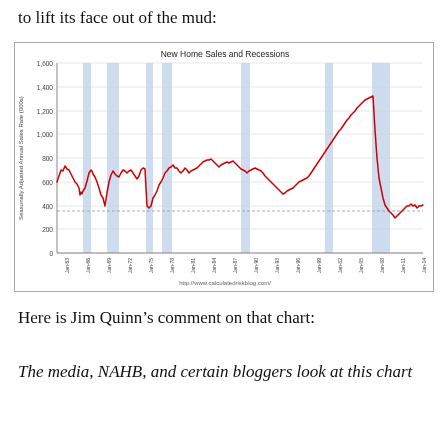to lift its face out of the mud:
[Figure (continuous-plot): Line chart showing Seasonally Adjusted Annual Sales Rate (000s) from approximately Jan-63 to Jan-14. The red line shows new home sales fluctuating between roughly 300 and 1,400. Blue shaded vertical bands indicate recession periods. The chart shows a major peak around 1,390 in mid-2000s followed by a sharp decline to below 300. A dotted horizontal reference line appears around 350-400.]
http://www.calculatedriskblog.com/
Here is Jim Quinn’s comment on that chart:
The media, NAHB, and certain bloggers look at this chart